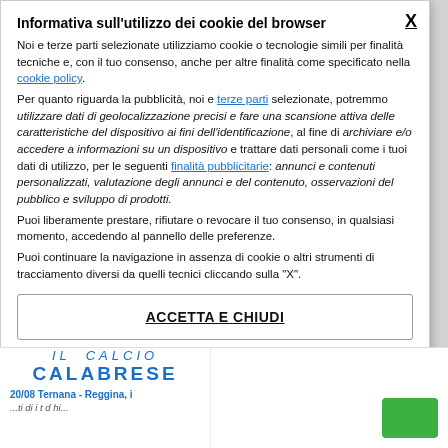Informativa sull'utilizzo dei cookie del browser
Noi e terze parti selezionate utilizziamo cookie o tecnologie simili per finalità tecniche e, con il tuo consenso, anche per altre finalità come specificato nella cookie policy. Per quanto riguarda la pubblicità, noi e terze parti selezionate, potremmo utilizzare dati di geolocalizzazione precisi e fare una scansione attiva delle caratteristiche del dispositivo ai fini dell'identificazione, al fine di archiviare e/o accedere a informazioni su un dispositivo e trattare dati personali come i tuoi dati di utilizzo, per le seguenti finalità pubblicitarie: annunci e contenuti personalizzati, valutazione degli annunci e del contenuto, osservazioni del pubblico e sviluppo di prodotti. Puoi liberamente prestare, rifiutare o revocare il tuo consenso, in qualsiasi momento, accedendo al pannello delle preferenze. Puoi continuare la navigazione in assenza di cookie o altri strumenti di tracciamento diversi da quelli tecnici cliccando sulla "X".
ACCETTA E CHIUDI
OPZIONI COOKIE
[Figure (screenshot): Bottom strip showing IL CALCIO CALABRESE logo and partial article text: 20/08 Ternana - Reggina, i...]